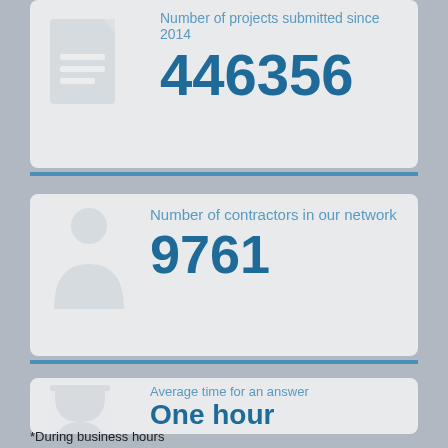Number of projects submitted since 2014
446356
Number of contractors in our network
9761
Average time for an answer
One hour
*During business hours